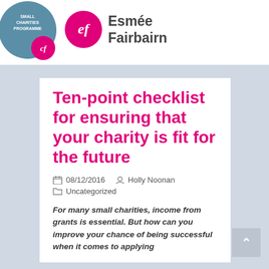[Figure (logo): Small Charities Programme teal circle logo with pink CF badge, and Esmée Fairbairn Foundation logo with pink circular EF badge and bold name text]
Ten-point checklist for ensuring that your charity is fit for the future
08/12/2016   Holly Noonan
Uncategorized
For many small charities, income from grants is essential. But how can you improve your chance of being successful when it comes to applying